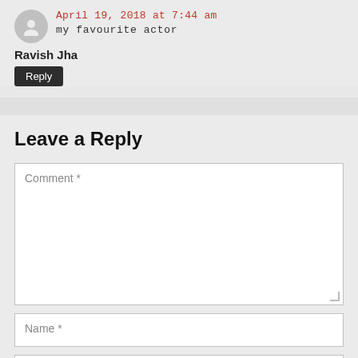April 19, 2018 at 7:44 am
my favourite actor
Ravish Jha
Reply
Leave a Reply
Comment *
Name *
Email Address *